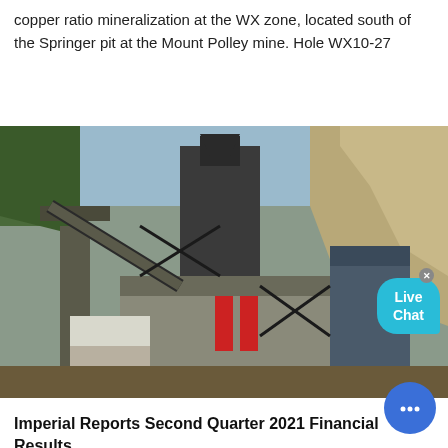copper ratio mineralization at the WX zone, located south of the Springer pit at the Mount Polley mine. Hole WX10-27
[Figure (photo): Industrial mining processing facility with conveyor belts and large metal structures, photographed against a rocky hillside background.]
Imperial Reports Second Quarter 2021 Financial Results ...
2021-8-10 · VANCOUVER, British Columbia, Aug. 10, 2021 (GLOBE NEWSWIRE) -- Imperial Metals Corporation (the "Company") (TSX:III) reports financial results for the three and six months ended June 30, 2021, as summarized in this